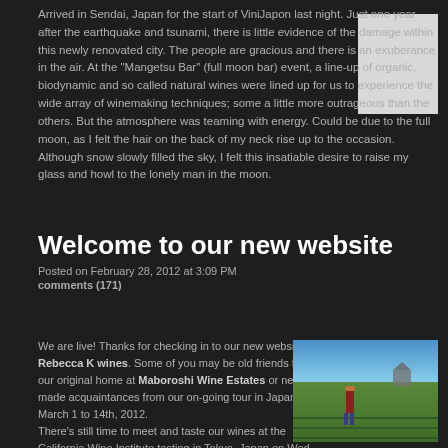Arrived in Sendai, Japan for the start of ViniJapon last night.  Just one year after the earthquake and tsunami, there is little evidence of the damage within this newly renovated city.  The people are gracious and there is an exuberance in the air.  At the "Mangetsu Bar" (full moon bar) event, a line-up of organic, biodynamic and so called natural wines were lined up for us to experience the wide array of winemaking techniques; some a little more outrageous than the others.  But the atmosphere was teaming with energy.  Could be due to the full moon, as I felt the hair on the back of my neck rise up to the occasion.  Although snow slowly filled the sky, I felt this insatiable desire to raise my glass and howl to the lonely man in the moon.
Welcome to our new website
Posted on February 28, 2012 at 3:09 PM
comments (171)
We are live!  Thanks for checking in to our new website at Rebecca K wines.  Some of you may be old friends from our original home at Maboroshi Wine Estates or newly made acquaintances from our on-going tour in Japan from March 1 to 14th, 2012.
There's still time to meet and taste our wines at the California Wine Institute tasting in Tokyo, Japan on Wed. March 7th or at
[Figure (photo): Outdoor photo of a person standing in a green field/vineyard with blue sky, some structures visible in background]